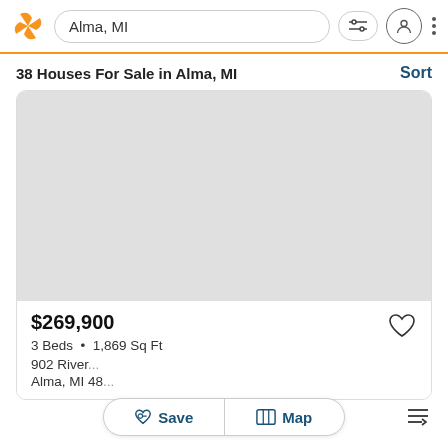Alma, MI
38 Houses For Sale in Alma, MI
[Figure (screenshot): Light grey placeholder image representing a property photo]
$269,900
3 Beds • 1,869 Sq Ft
902 River...
Alma, MI 48...